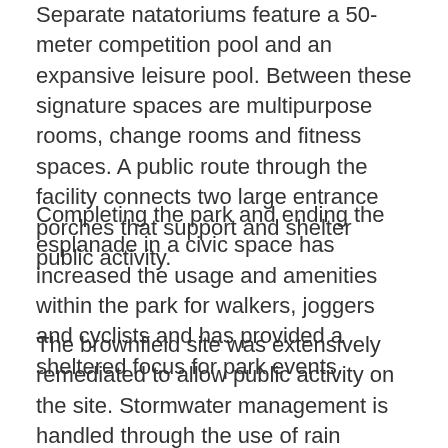Separate natatoriums feature a 50-meter competition pool and an expansive leisure pool. Between these signature spaces are multipurpose rooms, change rooms and fitness spaces. A public route through the facility connects two large entrance porches that support and shelter public activity.
Completing the park and ending the esplanade in a civic space has increased the usage and amenities within the park for walkers, joggers and cyclists and has provided a sheltered focus for park events.
The brownfield site was extensively remediated to allow public activity on the site. Stormwater management is handled through the use of rain gardens that collect and filter the water prior to release into the Potomac watershed. A chloramine